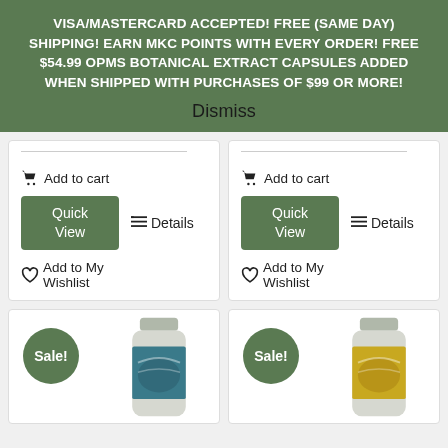VISA/MASTERCARD ACCEPTED! FREE (SAME DAY) SHIPPING! EARN MKC POINTS WITH EVERY ORDER! FREE $54.99 OPMS BOTANICAL EXTRACT CAPSULES ADDED WHEN SHIPPED WITH PURCHASES OF $99 OR MORE!
Dismiss
Add to cart
Quick View
Details
Add to My Wishlist
Add to cart
Quick View
Details
Add to My Wishlist
[Figure (photo): Sale badge and product bottle (blue/teal label) in bottom-left product card]
[Figure (photo): Sale badge and product bottle (yellow/gold label) in bottom-right product card]